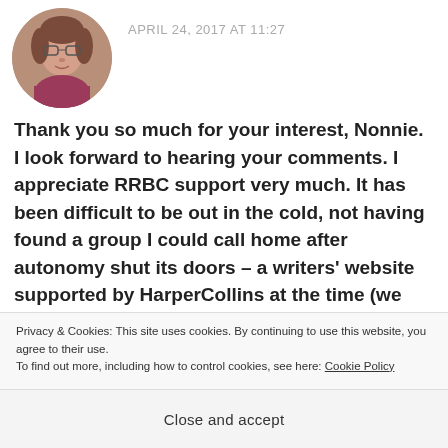[Figure (photo): Circular avatar photo of a woman with glasses and red/patterned top]
APRIL 24, 2017 AT 11:27
Thank you so much for your interest, Nonnie. I look forward to hearing your comments. I appreciate RRBC support very much. It has been difficult to be out in the cold, not having found a group I could call home after autonomy shut its doors – a writers' website supported by HarperCollins at the time (we also immigrated to the UK)
Privacy & Cookies: This site uses cookies. By continuing to use this website, you agree to their use.
To find out more, including how to control cookies, see here: Cookie Policy
Close and accept
WITH NONNIE JULES helped me to get some